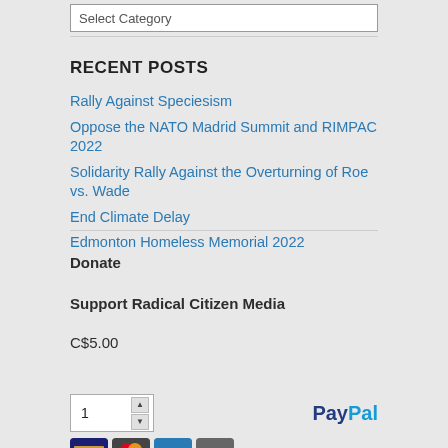Select Category
RECENT POSTS
Rally Against Speciesism
Oppose the NATO Madrid Summit and RIMPAC 2022
Solidarity Rally Against the Overturning of Roe vs. Wade
End Climate Delay
Edmonton Homeless Memorial 2022
Donate
Support Radical Citizen Media
C$5.00
[Figure (other): Quantity input box showing value 1 with up/down arrows, and PayPal logo to the right]
[Figure (other): Payment method icons row at bottom (Visa, MasterCard, etc.)]